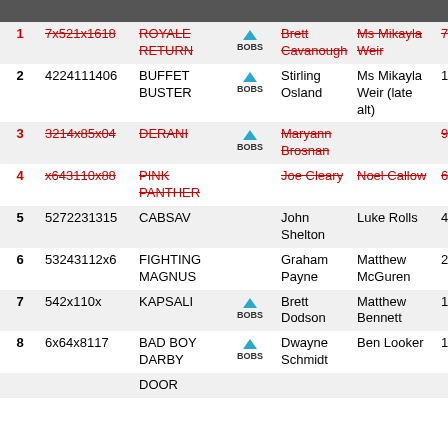| # | ID | Name | Logo | Player 1 | Player 2 |  |
| --- | --- | --- | --- | --- | --- | --- |
| 1 | 7x521x1618 | ROYALE RETURN | BOBS | Brett Cavanough | Ms Mikayla Weir | 7 |
| 2 | 4224111406 | BUFFET BUSTER | BOBS | Stirling Osland | Ms Mikayla Weir (late alt) | 1 |
| 3 | 3214x85x04 | DERANI | BOBS | Maryann Brosnan |  | 9 |
| 4 | x643110x88 | PINK PANTHER |  | Joe Cleary | Noel Callow | 6 |
| 5 | 5272231315 | CABSAV |  | John Shelton | Luke Rolls | 4 |
| 6 | 53243112x6 | FIGHTING MAGNUS |  | Graham Payne | Matthew McGuren | 2 |
| 7 | 542x110x | KAPSALI | BOBS | Brett Dodson | Matthew Bennett | 1 |
| 8 | 6x64x8117 | BAD BOY DARBY | BOBS | Dwayne Schmidt | Ben Looker | 1 |
|  |  | DOOR |  |  |  |  |